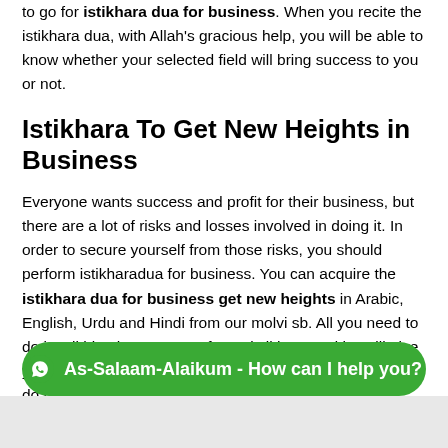to go for istikhara dua for business. When you recite the istikhara dua, with Allah's gracious help, you will be able to know whether your selected field will bring success to you or not.
Istikhara To Get New Heights in Business
Everyone wants success and profit for their business, but there are a lot of risks and losses involved in doing it. In order to secure yourself from those risks, you should perform istikharadua for business. You can acquire the istikhara dua for business get new heights in Arabic, English, Urdu and Hindi from our molvi sb. All you need to do is tell him the purpose of your istikhara and he will give you the right istikharadua for it. However, make sure you do not do any ill...
[Figure (other): WhatsApp chat button bar with text: As-Salaam-Alaikum - How can I help you?]